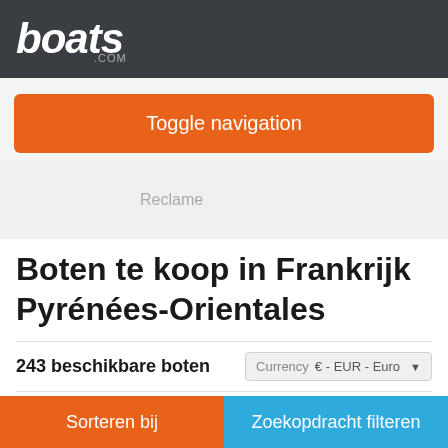boats.com
Toggle navigation
Reclame
Boten te koop in Frankrijk Pyrénées-Orientales
243 beschikbare boten  Currency  € - EUR - Euro
[Figure (screenshot): Partial boat listing preview image with blue background]
Sorteren bij
Zoekopdracht filteren